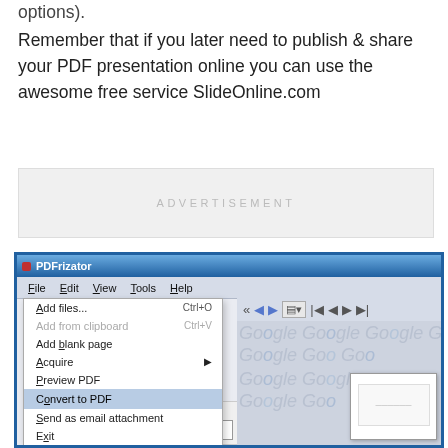options).
Remember that if you later need to publish & share your PDF presentation online you can use the awesome free service SlideOnline.com
[Figure (screenshot): Advertisement placeholder box with 'ADVERTISEMENT' text in light gray lettersspaced font]
[Figure (screenshot): Screenshot of PDFrizator application window showing File menu open with options: Add files... Ctrl+O, Add from clipboard Ctrl+V, Add blank page, Acquire (with submenu arrow), Preview PDF, Convert to PDF (highlighted in blue), Send as email attachment, Exit. Below shows a search area with 'Search terms' label and 'PowerPoint' entered in the text field. Right side shows Google watermark pattern and a small document preview thumbnail.]